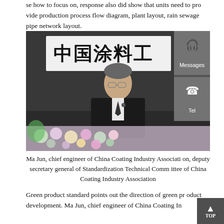se how to focus on, response also did show that units need to provide production process flow diagram, plant layout, rain sewage pipe network layout.
[Figure (photo): Ma Jun, chief engineer of China Coating Industry Association, speaking at a podium in front of a banner with Chinese characters (中国涂料工), with floral arrangements in the foreground. On-screen overlay shows two sidebar UI buttons labeled 'Messages' and 'Tel'.]
Ma Jun, chief engineer of China Coating Industry Association, deputy secretary general of Standardization Technical Committee of China Coating Industry Association
Green product standard points out the direction of green product development. Ma Jun, chief engineer of China Coating In dustry association, deputy secretary general of Standardizati